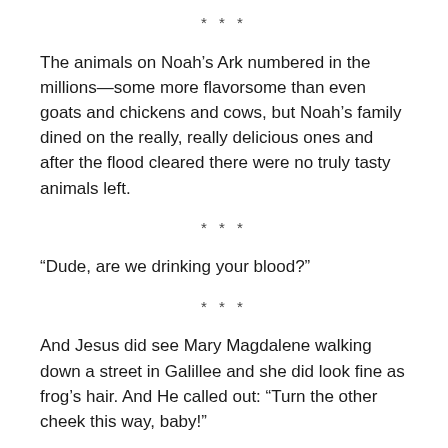* * *
The animals on Noah’s Ark numbered in the millions—some more flavorsome than even goats and chickens and cows, but Noah’s family dined on the really, really delicious ones and after the flood cleared there were no truly tasty animals left.
* * *
“Dude, are we drinking your blood?”
* * *
And Jesus did see Mary Magdalene walking down a street in Galillee and she did look fine as frog’s hair. And He called out: “Turn the other cheek this way, baby!”